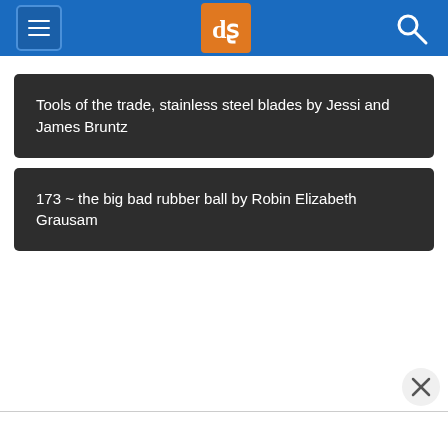Navigation bar with menu, dPS logo, and search icon
Tools of the trade, stainless steel blades by Jessi and James Bruntz
173 ~ the big bad rubber ball by Robin Elizabeth Grausam